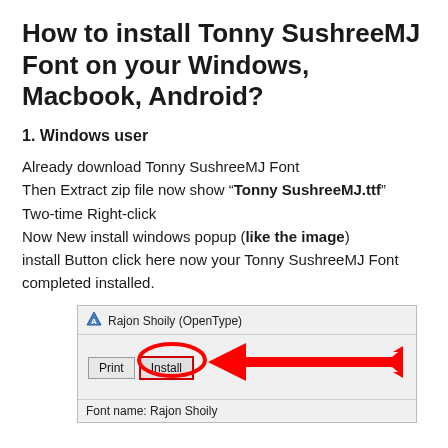How to install Tonny SushreeMJ Font on your Windows, Macbook, Android?
1. Windows user
Already download Tonny SushreeMJ Font
Then Extract zip file now show “Tonny SushreeMJ.ttf”
Two-time Right-click
Now New install windows popup (like the image)
install Button click here now your Tonny SushreeMJ Font completed installed.
[Figure (screenshot): Screenshot of a Windows font installation popup showing 'Rajon Shoily (OpenType)' with Print and Install buttons, and a large red arrow annotation pointing to the Install button. Font name: Rajon Shoily shown at bottom.]